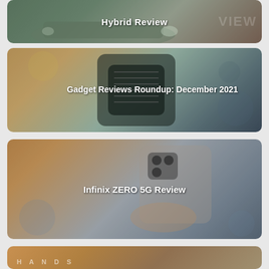[Figure (photo): Hybrid car (sedan/SUV) photographed from front-left, outdoors. Dark overlay with 'Hybrid Review' text centered in white bold, ghost text 'VIEW' visible on right.]
[Figure (photo): Close-up of a gaming phone case/accessory (ASUS ROG), warm orange-yellow tones with blur bokeh. Text 'Gadget Reviews Roundup: December 2021' centered in white bold.]
[Figure (photo): Hand holding an Infinix ZERO 5G smartphone, showing the back camera module. Warm amber/blue tones. Text 'Infinix ZERO 5G Review' centered in white bold.]
[Figure (photo): Partial card visible at bottom, warm amber tones, 'HANDS' text visible in faded white capitals. Ad banner overlaid: OPPO Reno8 Series 5G Coming Soon advertisement.]